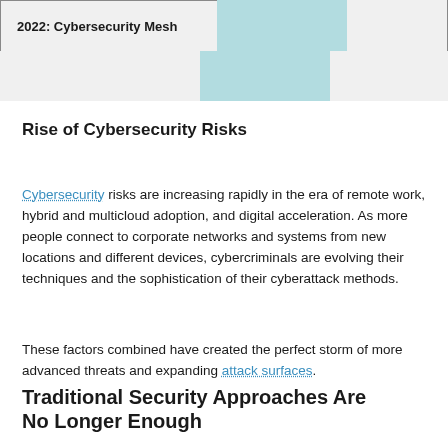| 2022: Cybersecurity Mesh |  |  |
| --- | --- | --- |
Rise of Cybersecurity Risks
Cybersecurity risks are increasing rapidly in the era of remote work, hybrid and multicloud adoption, and digital acceleration. As more people connect to corporate networks and systems from new locations and different devices, cybercriminals are evolving their techniques and the sophistication of their cyberattack methods.
These factors combined have created the perfect storm of more advanced threats and expanding attack surfaces.
Traditional Security Approaches Are No Longer Enough